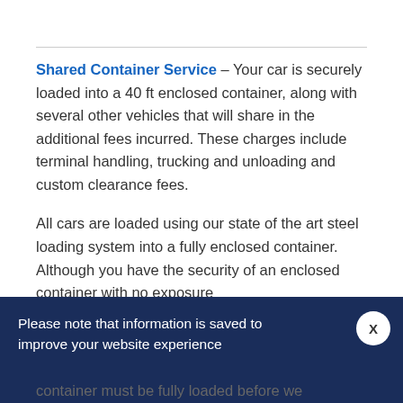Shared Container Service – Your car is securely loaded into a 40 ft enclosed container, along with several other vehicles that will share in the additional fees incurred. These charges include terminal handling, trucking and unloading and custom clearance fees.
All cars are loaded using our state of the art steel loading system into a fully enclosed container. Although you have the security of an enclosed container with no exposure
Please note that information is saved to improve your website experience
container must be fully loaded before we